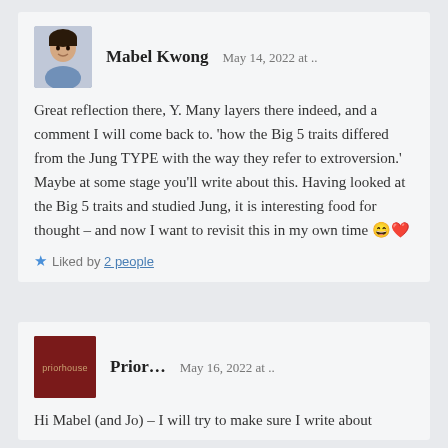[Figure (photo): Avatar photo of Mabel Kwong, a woman facing slightly left, wearing a blue top]
Mabel Kwong   May 14, 2022 at ..
Great reflection there, Y. Many layers there indeed, and a comment I will come back to. 'how the Big 5 traits differed from the Jung TYPE with the way they refer to extroversion.' Maybe at some stage you'll write about this. Having looked at the Big 5 traits and studied Jung, it is interesting food for thought – and now I want to revisit this in my own time 😄❤️
★ Liked by 2 people
[Figure (logo): Prior... blog logo: dark red/maroon square with 'priorhouse' text in small orange letters]
Prior...   May 16, 2022 at ..
Hi Mabel (and Jo) – I will try to make sure I write about